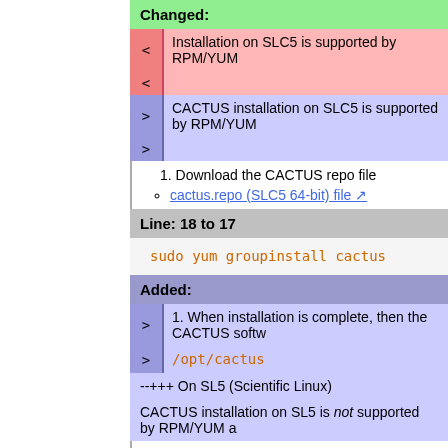Changed:
< Installation on SLC5 is supported by RPM/YUM
> CACTUS installation on SLC5 is supported by RPM/YUM
1. Download the CACTUS repo file
cactus.repo (SLC5 64-bit) file
Line: 18 to 17
sudo yum groupinstall cactus
Added:
1. When installation is complete, then the CACTUS softw
/opt/cactus
--+++ On SL5 (Scientific Linux)
CACTUS installation on SL5 is not supported by RPM/YUM a